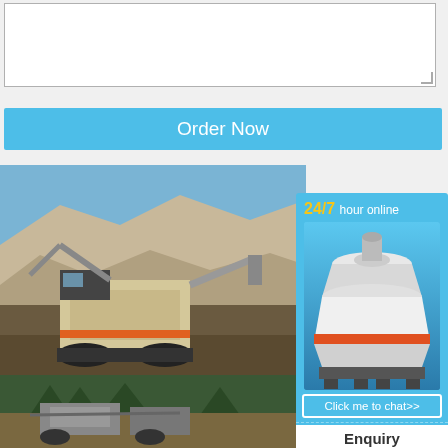[Figure (other): Empty text input/textarea box with resize handle]
Order Now
[Figure (photo): A large mobile jaw crusher/rock crushing machine at a quarry with rocky hillside in background]
The best 10 Quarries in Eastern Cape 2021 - Afri Pondoland Quarries. Address: 252 Main St South Africa, Eastern Cape. See full addres Categories: Quarries. Patcor Quarries (prim
Read More
[Figure (photo): Mining/quarry equipment and machinery in a forested quarry site]
[Figure (infographic): Sidebar advertisement showing 24/7 hour online support, a cone crusher machine image, Click me to chat button, Enquiry section, and limingjlmofen text]
Enquiry
limingjlmofen